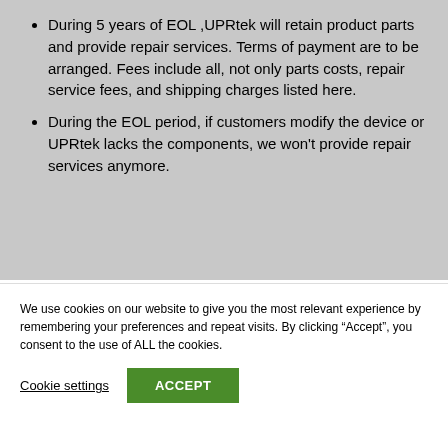During 5 years of EOL ,UPRtek will retain product parts and provide repair services. Terms of payment are to be arranged. Fees include all, not only parts costs, repair service fees, and shipping charges listed here.
During the EOL period, if customers modify the device or UPRtek lacks the components, we won't provide repair services anymore.
We use cookies on our website to give you the most relevant experience by remembering your preferences and repeat visits. By clicking “Accept”, you consent to the use of ALL the cookies.
Cookie settings | ACCEPT